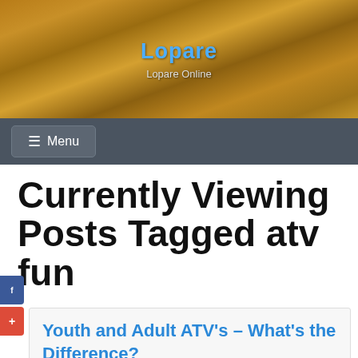Lopare
Lopare Online
≡ Menu
Currently Viewing Posts Tagged atv fun
Youth and Adult ATV's – What's the Difference?
March 26, 2020  Leigh Valdez
If you are considering buying an ATV for your child,